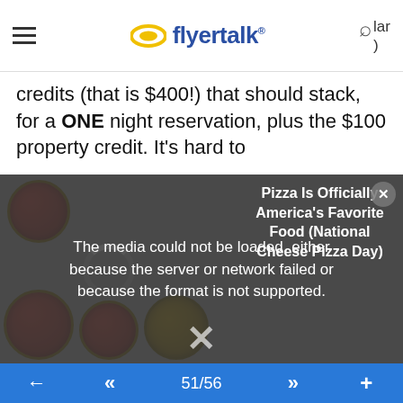flyertalk (logo header with hamburger menu and search)
credits (that is $400!) that should stack, for a ONE night reservation, plus the $100 property credit. It's hard to
[Figure (photo): Pizza images with media load error overlay. Text reads: 'The media could not be loaded, either because the server or network failed or because the format is not supported.' Side panel shows article title: 'Pizza Is Officially America's Favorite Food (National Cheese Pizza Day)'. An X dismiss button is visible at bottom center.]
not everyone likes working with travel agents (yes, even nice ones). One thing I appreciate about FHR is I don't have to deal with anyone. My needs are often quite simple, I don't necessarily need (or particularly want) a "relationship" with an agent. With FHR, I can book it online, seamlessly, without needing to interact with a human being. I can change my mind quickly. I can cancel and re-book when/if rates drop (again, without the friction of reaching out to a human). I also tend to book the room I want/need, so an upgrade is
← << 51/56 >> +